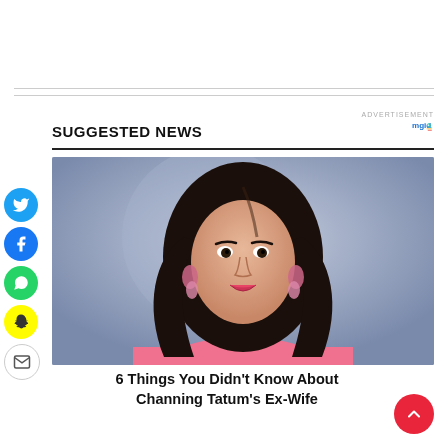ADVERTISEMENT
SUGGESTED NEWS
[Figure (photo): Portrait photo of a woman with long dark hair, wearing pink, with large pink earrings, smiling at the camera against a purple/blue background]
6 Things You Didn't Know About Channing Tatum's Ex-Wife